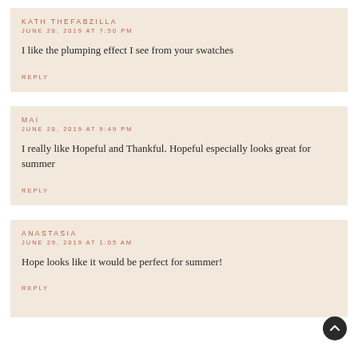KATH THEFABZILLA
JUNE 28, 2019 AT 7:50 PM
I like the plumping effect I see from your swatches
REPLY
MAI
JUNE 28, 2019 AT 9:49 PM
I really like Hopeful and Thankful. Hopeful especially looks great for summer
REPLY
ANASTASIA
JUNE 29, 2019 AT 1:05 AM
Hope looks like it would be perfect for summer!
REPLY